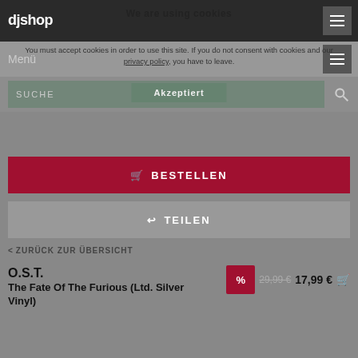djshop
We are using cookies
You must accept cookies in order to use this site. If you do not consent with cookies and our privacy policy, you have to leave.
Menü
SUCHE
Akzeptiert
🛒 BESTELLEN
↩ TEILEN
< ZURÜCK ZUR ÜBERSICHT
O.S.T.
The Fate Of The Furious (Ltd. Silver Vinyl)
29,99 € 17,99 €